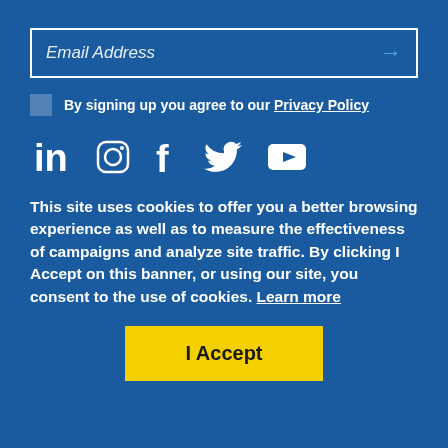[Figure (screenshot): Email address input field with right arrow icon]
By signing up you agree to our Privacy Policy
[Figure (illustration): Social media icons: LinkedIn, Instagram, Facebook, Twitter, YouTube]
This site uses cookies to offer you a better browsing experience as well as to measure the effectiveness of campaigns and analyze site traffic. By clicking I Accept on this banner, or using our site, you consent to the use of cookies. Learn more
[Figure (other): I Accept button in yellow]